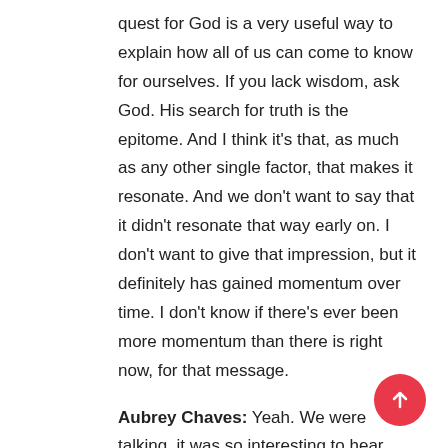quest for God is a very useful way to explain how all of us can come to know for ourselves. If you lack wisdom, ask God. His search for truth is the epitome. And I think it's that, as much as any other single factor, that makes it resonate. And we don't want to say that it didn't resonate that way early on. I don't want to give that impression, but it definitely has gained momentum over time. I don't know if there's ever been more momentum than there is right now, for that message.
Aubrey Chaves: Yeah. We were talking, it was so interesting to hear about the Centennial celebration of the first vision, and we're preparing, and we're going to have this second, this big bicentennial, and it's such a reflection of what we